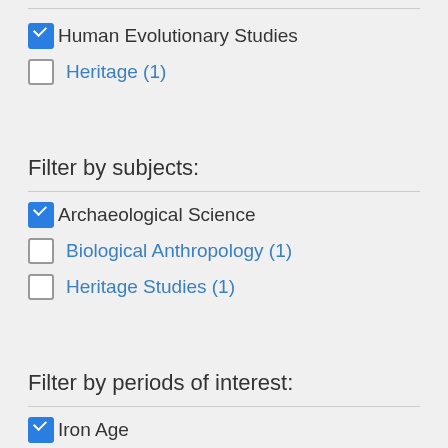☑ Human Evolutionary Studies
☐ Heritage (1)
Filter by subjects:
☑ Archaeological Science
☐ Biological Anthropology (1)
☐ Heritage Studies (1)
Filter by periods of interest:
☑ Iron Age
☑ Other Historical
☐ Classical - Roman (1)